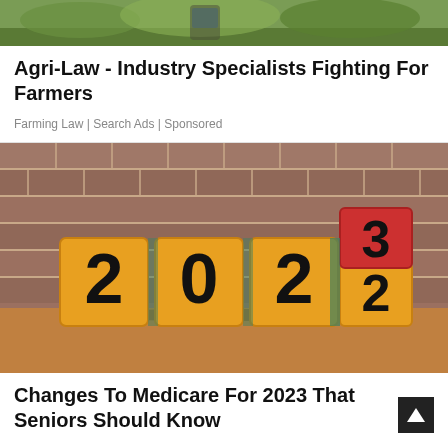[Figure (photo): Photo of a person in a plaid shirt working outdoors in a green garden/farming setting]
Agri-Law - Industry Specialists Fighting For Farmers
Farming Law | Search Ads | Sponsored
[Figure (photo): Photo of wooden blocks spelling '2022' with the last block flipping from 2 to 3, representing the year 2023, placed on a wooden surface against a brick wall background]
Changes To Medicare For 2023 That Seniors Should Know